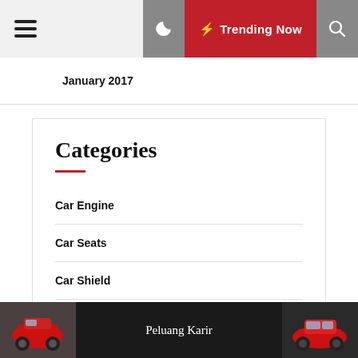January 2017
Categories
Car Engine
Car Seats
Car Shield
Car Shop
Car Things
Peluang Karir